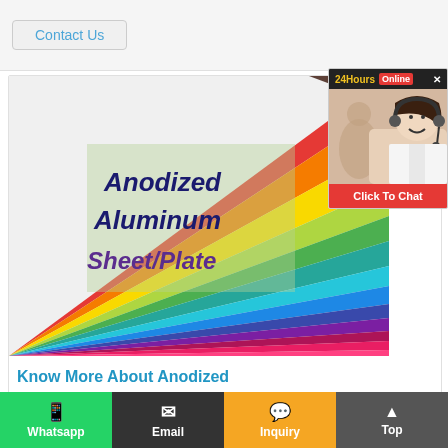Contact Us
[Figure (photo): Colorful anodized aluminum sheets in rainbow colors fanned out, with bold italic text overlay reading 'Anodized Aluminum Sheet/Plate' on a semi-transparent green background]
[Figure (photo): 24Hours Online chat widget with photo of smiling female customer service agent wearing headset, and a red 'Click To Chat' button]
Know More About Anodized
Whatsapp | Email | Inquiry | Top